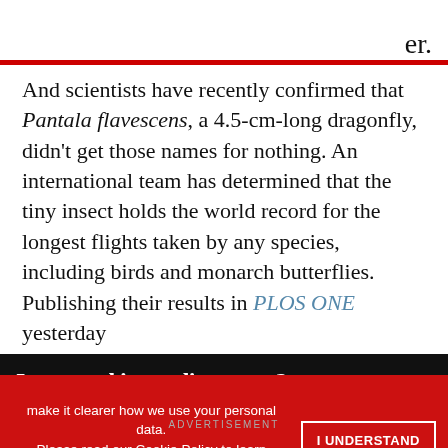er.
And scientists have recently confirmed that Pantala flavescens, a 4.5-cm-long dragonfly, didn't get those names for nothing. An international team has determined that the tiny insect holds the world record for the longest flights taken by any species, including birds and monarch butterflies. Publishing their results in PLOS ONE yesterday
Interested in reading more?
make it clearer how we use your personal data. Please read our Cookie Policy to learn how we use cookies to provide you
I UNDERSTAND
ADVERTISEMENT